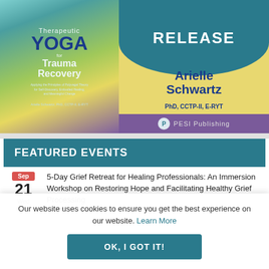[Figure (illustration): Book advertisement for 'Therapeutic Yoga for Trauma Recovery' by Arielle Schwartz PhD, CCTP-II, E-RYT, published by PESI Publishing. Shows book cover on left with teal/green/yellow/purple gradient and title text, right side shows 'RELEASE' badge in teal circle on yellow background, author name 'Arielle Schwartz' in bold navy, credentials 'PhD, CCTP-II, E-RYT', and PESI Publishing logo on purple bar.]
FEATURED EVENTS
5-Day Grief Retreat for Healing Professionals: An Immersion Workshop on Restoring Hope and Facilitating Healthy Grief Processing
Our website uses cookies to ensure you get the best experience on our website. Learn More
OK, I GOT IT!